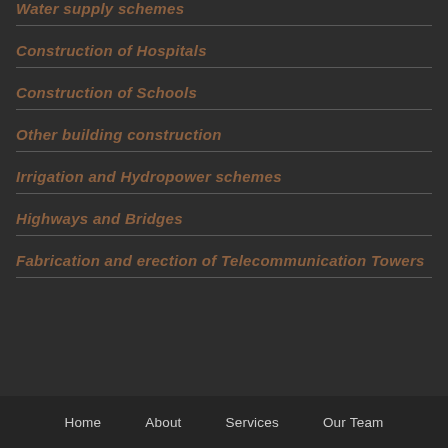Water supply schemes
Construction of Hospitals
Construction of Schools
Other building construction
Irrigation and Hydropower schemes
Highways and Bridges
Fabrication and erection of Telecommunication Towers
Home  About  Services  Our Team